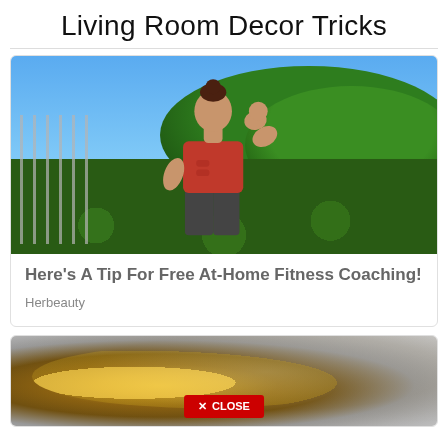Living Room Decor Tricks
[Figure (photo): Fit woman in red sports bra and dark shorts flexing bicep outdoors with green hedge and trees in background]
Here's A Tip For Free At-Home Fitness Coaching!
Herbeauty
[Figure (photo): Close-up macro photo of a spoon with liquid/honey, blurred background, with a red CLOSE button overlay]